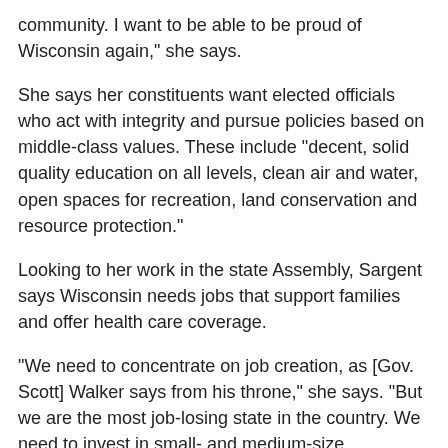community. I want to be able to be proud of Wisconsin again," she says.
She says her constituents want elected officials who act with integrity and pursue policies based on middle-class values. These include "decent, solid quality education on all levels, clean air and water, open spaces for recreation, land conservation and resource protection."
Looking to her work in the state Assembly, Sargent says Wisconsin needs jobs that support families and offer health care coverage.
"We need to concentrate on job creation, as [Gov. Scott] Walker says from his throne," she says. "But we are the most job-losing state in the country. We need to invest in small- and medium-size companies, not huge corporations."
I had written about her adventures with the Capitol Police when the protests were going strong in early 2011, but I